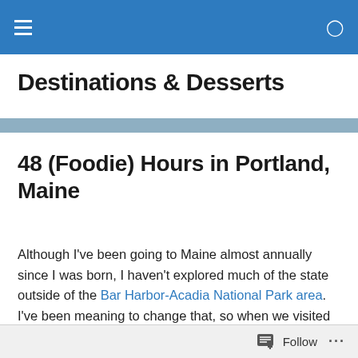Destinations & Desserts — navigation bar
Destinations & Desserts
48 (Foodie) Hours in Portland, Maine
Although I've been going to Maine almost annually since I was born, I haven't explored much of the state outside of the Bar Harbor-Acadia National Park area. I've been meaning to change that, so when we visited Maine last August we fit in a mini-getaway to Portland, Maine's largest city, which is about two hours south of Bar Harbor
Follow